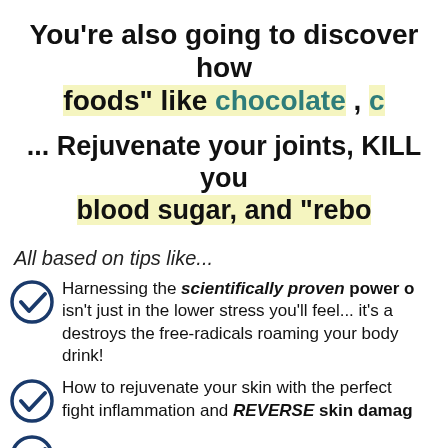You're also going to discover how foods" like chocolate ,
... Rejuvenate your joints, KILL you blood sugar, and "rebo
All based on tips like...
Harnessing the scientifically proven power of isn't just in the lower stress you'll feel... it's a destroys the free-radicals roaming your body drink!
How to rejuvenate your skin with the perfect fight inflammation and REVERSE skin damag